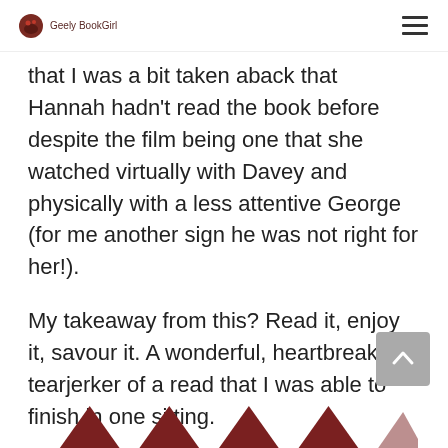Geely BookGirl
that I was a bit taken aback that Hannah hadn't read the book before despite the film being one that she watched virtually with Davey and physically with a less attentive George (for me another sign he was not right for her!).
My takeaway from this? Read it, enjoy it, savour it. A wonderful, heartbreaking tearjerker of a read that I was able to finish in one sitting.
[Figure (other): Back to top button (grey square with upward chevron arrow)]
[Figure (other): Row of dark red/maroon triangle decorative shapes at bottom of page]